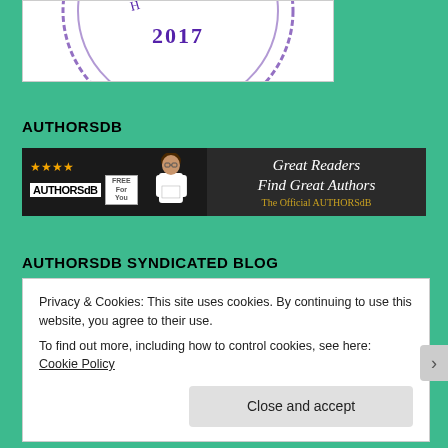[Figure (illustration): Partial view of a circular stamp/badge with '2017' visible and decorative purple ink splatter, on white background]
AUTHORSDB
[Figure (illustration): AuthorsDB banner ad: left side shows gold stars, 'AUTHORSdB' text, 'FREE for You' badge, and a woman holding a sign; right side shows dark background with 'Great Readers Find Great Authors - The Official AUTHORSdB' text]
AUTHORSDB SYNDICATED BLOG
Privacy & Cookies: This site uses cookies. By continuing to use this website, you agree to their use.
To find out more, including how to control cookies, see here: Cookie Policy
Close and accept